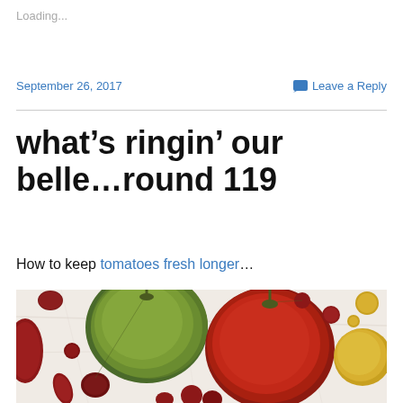Loading...
September 26, 2017    Leave a Reply
what’s ringin’ our belle…round 119
How to keep tomatoes fresh longer…
[Figure (photo): Overhead photo of various heirloom tomatoes on a white marble surface, including red, green-yellow, and yellow tomatoes of different sizes]